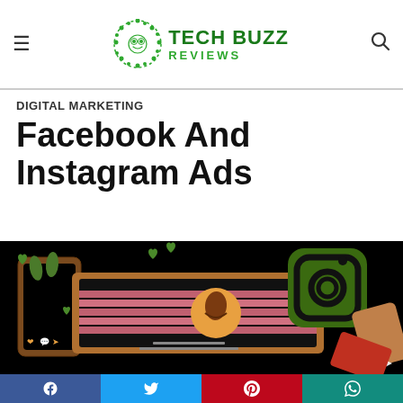Tech Buzz Reviews
DIGITAL MARKETING
Facebook And Instagram Ads
[Figure (illustration): Illustration of social media apps featuring Instagram logo icon on dark background with phone screens showing content]
Social share buttons: Facebook, Twitter, Pinterest, WhatsApp